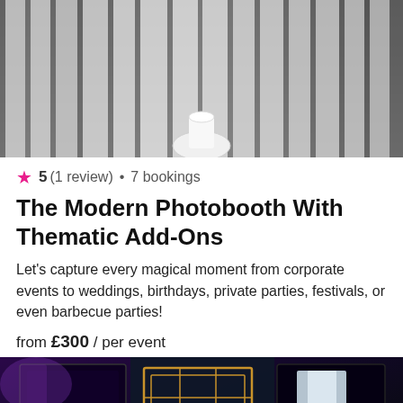[Figure (photo): Top portion of a photobooth with grey/silver curtain draping and a white pole/stand at the bottom center]
5 (1 review) • 7 bookings
The Modern Photobooth With Thematic Add-Ons
Let's capture every magical moment from corporate events to weddings, birthdays, private parties, festivals, or even barbecue parties!
from £300 / per event
[Figure (photo): Photobooth setup in a dark venue with purple/blue ambient lighting, dark side panels, decorative gold geometric frame in center background, and a light panel on the right side]